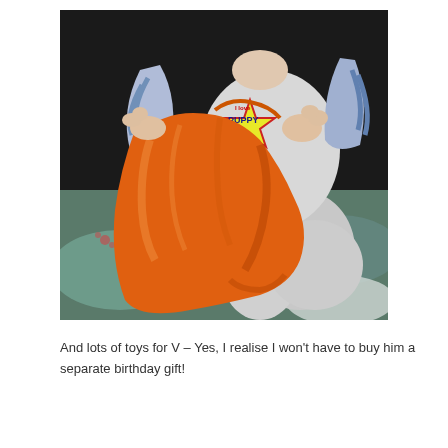[Figure (photo): A young toddler in blue and white striped pajamas sitting on a bed, holding and playing with a large orange plastic bag.]
And lots of toys for V – Yes, I realise I won't have to buy him a separate birthday gift!